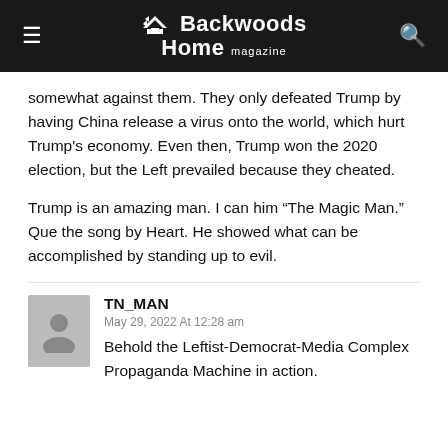Backwoods Home magazine
somewhat against them. They only defeated Trump by having China release a virus onto the world, which hurt Trump's economy. Even then, Trump won the 2020 election, but the Left prevailed because they cheated.
Trump is an amazing man. I can him “The Magic Man.” Que the song by Heart. He showed what can be accomplished by standing up to evil.
TN_MAN
May 29, 2022 At 12:28 am
Behold the Leftist-Democrat-Media Complex Propaganda Machine in action.